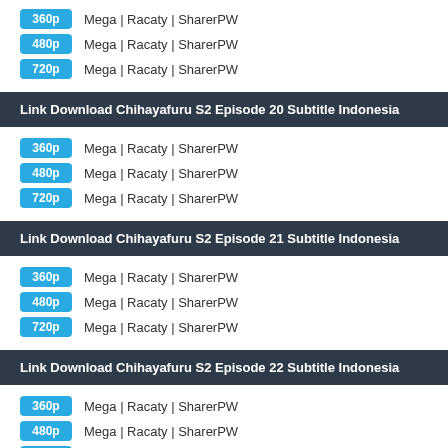360p Mega | Racaty | SharerPW
480p Mega | Racaty | SharerPW
720p Mega | Racaty | SharerPW
Link Download Chihayafuru S2 Episode 20 Subtitle Indonesia
360p Mega | Racaty | SharerPW
480p Mega | Racaty | SharerPW
720p Mega | Racaty | SharerPW
Link Download Chihayafuru S2 Episode 21 Subtitle Indonesia
360p Mega | Racaty | SharerPW
480p Mega | Racaty | SharerPW
720p Mega | Racaty | SharerPW
Link Download Chihayafuru S2 Episode 22 Subtitle Indonesia
360p Mega | Racaty | SharerPW
480p Mega | Racaty | SharerPW
720p Mega | Racaty | SharerPW